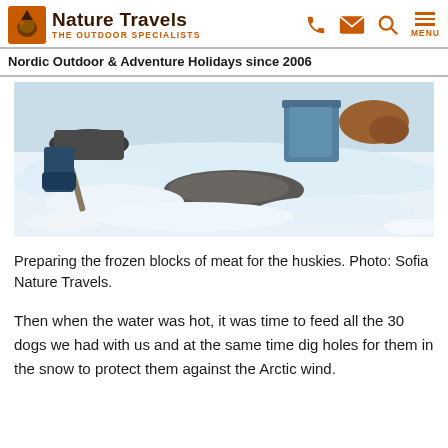Nature Travels – THE OUTDOOR SPECIALISTS | Nordic Outdoor & Adventure Holidays since 2006
[Figure (photo): Snow scene with frozen blocks of meat, blue bucket, and supplies on snow, preparing husky food]
Preparing the frozen blocks of meat for the huskies. Photo: Sofia Nature Travels.
Then when the water was hot, it was time to feed all the 30 dogs we had with us and at the same time dig holes for them in the snow to protect them against the Arctic wind.